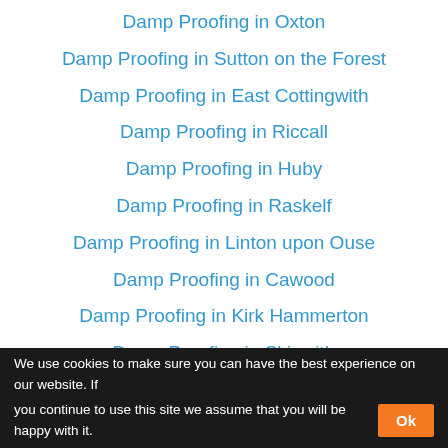Damp Proofing in Oxton
Damp Proofing in Sutton on the Forest
Damp Proofing in East Cottingwith
Damp Proofing in Riccall
Damp Proofing in Huby
Damp Proofing in Raskelf
Damp Proofing in Linton upon Ouse
Damp Proofing in Cawood
Damp Proofing in Kirk Hammerton
Damp Proofing in Skipwith
We use cookies to make sure you can have the best experience on our website. If you continue to use this site we assume that you will be happy with it.